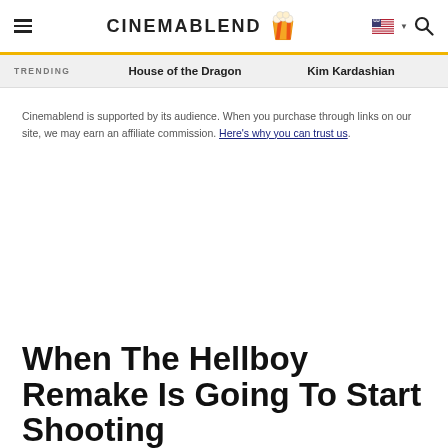CinemaBlend
TRENDING   House of the Dragon   Kim Kardashian
Cinemablend is supported by its audience. When you purchase through links on our site, we may earn an affiliate commission. Here's why you can trust us.
When The Hellboy Remake Is Going To Start Shooting